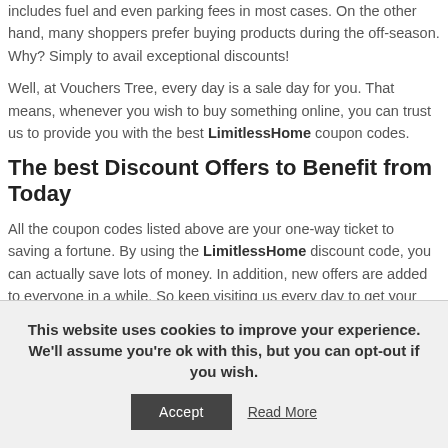includes fuel and even parking fees in most cases. On the other hand, many shoppers prefer buying products during the off-season. Why? Simply to avail exceptional discounts!
Well, at Vouchers Tree, every day is a sale day for you. That means, whenever you wish to buy something online, you can trust us to provide you with the best LimitlessHome coupon codes.
The best Discount Offers to Benefit from Today
All the coupon codes listed above are your one-way ticket to saving a fortune. By using the LimitlessHome discount code, you can actually save lots of money. In addition, new offers are added to everyone in a while. So keep visiting us every day to get your hands on new and exclusive promo codes.
This website uses cookies to improve your experience. We'll assume you're ok with this, but you can opt-out if you wish.